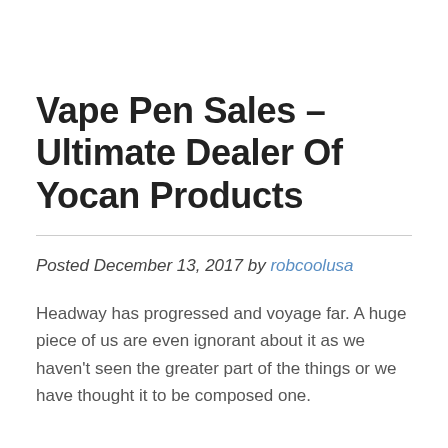Vape Pen Sales – Ultimate Dealer Of Yocan Products
Posted December 13, 2017 by robcoolusa
Headway has progressed and voyage far. A huge piece of us are even ignorant about it as we haven't seen the greater part of the things or we have thought it to be composed one.